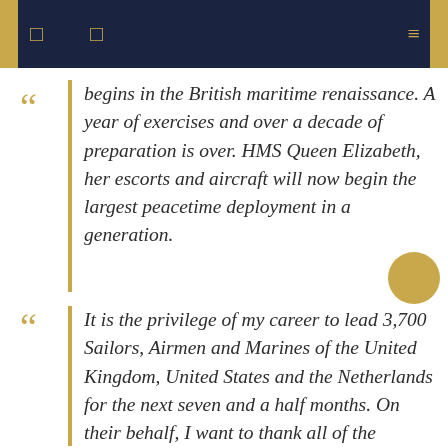begins in the British maritime renaissance. A year of exercises and over a decade of preparation is over. HMS Queen Elizabeth, her escorts and aircraft will now begin the largest peacetime deployment in a generation.
It is the privilege of my career to lead 3,700 Sailors, Airmen and Marines of the United Kingdom, United States and the Netherlands for the next seven and a half months. On their behalf, I want to thank all of the government, military and industry who have worked so hard to get us to the starting line and will continue to support us when we are away. Most importantly,